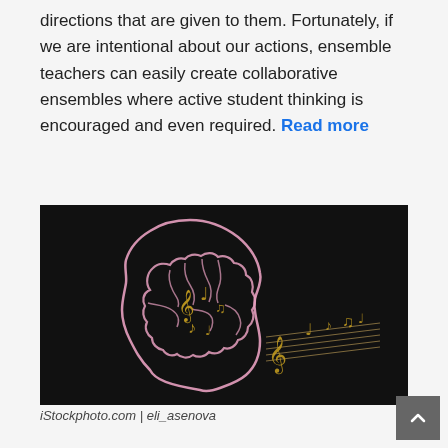directions that are given to them. Fortunately, if we are intentional about our actions, ensemble teachers can easily create collaborative ensembles where active student thinking is encouraged and even required. Read more
[Figure (illustration): Chalk drawing on black background of a human head in profile with a pink outlined brain containing golden music notes and a treble clef. Musical notes on staff lines flow from the mouth area.]
iStockphoto.com | eli_asenova